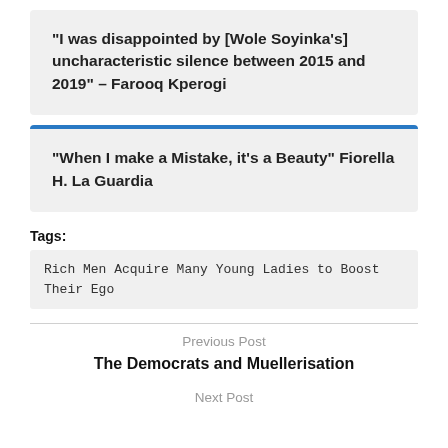“I was disappointed by [Wole Soyinka’s] uncharacteristic silence between 2015 and 2019” – Farooq Kperogi
“When I make a Mistake, it’s a Beauty” Fiorella H. La Guardia
Tags:
Rich Men Acquire Many Young Ladies to Boost Their Ego
Previous Post
The Democrats and Muellerisation
Next Post